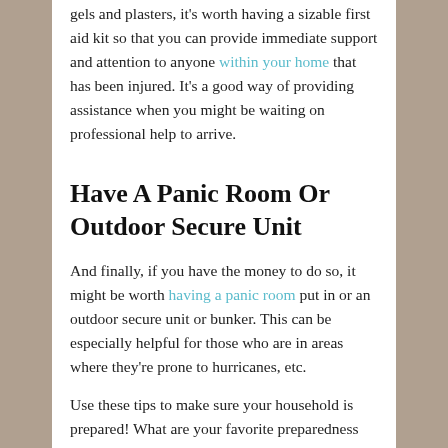gels and plasters, it's worth having a sizable first aid kit so that you can provide immediate support and attention to anyone within your home that has been injured. It's a good way of providing assistance when you might be waiting on professional help to arrive.
Have A Panic Room Or Outdoor Secure Unit
And finally, if you have the money to do so, it might be worth having a panic room put in or an outdoor secure unit or bunker. This can be especially helpful for those who are in areas where they're prone to hurricanes, etc.
Use these tips to make sure your household is prepared! What are your favorite preparedness tips? Let me know in the comments below and